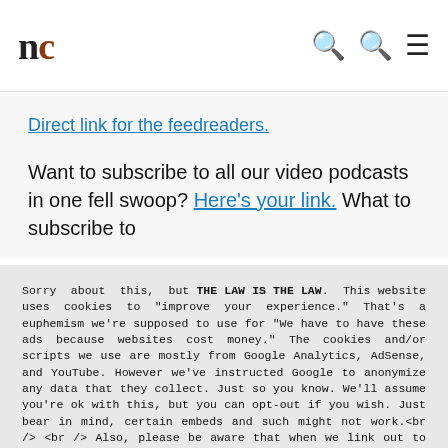nc
Direct link for the feedreaders.
Want to subscribe to all our video podcasts in one fell swoop? Here's your link. What to subscribe to
Sorry about this, but THE LAW IS THE LAW. This website uses cookies to "improve your experience." That's a euphemism we're supposed to use for "We have to have these ads because websites cost money." The cookies and/or scripts we use are mostly from Google Analytics, AdSense, and YouTube. However we've instructed Google to anonymize any data that they collect. Just so you know. We'll assume you're ok with this, but you can opt-out if you wish. Just bear in mind, certain embeds and such might not work.<br /> <br /> Also, please be aware that when we link out to products, we may earn a commission for doing so. Because we're certainly not doing it for our health. See our privacy policy & terms of use for more info than you would ever want to know. - Privacy Policy & Terms of Use